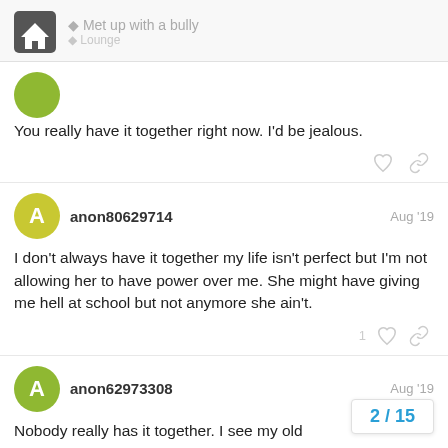Met up with a bully | Lounge
You really have it together right now. I'd be jealous.
anon80629714 | Aug '19
I don't always have it together my life isn't perfect but I'm not allowing her to have power over me. She might have giving me hell at school but not anymore she ain't.
anon62973308 | Aug '19
Nobody really has it together. I see my old
2 / 15